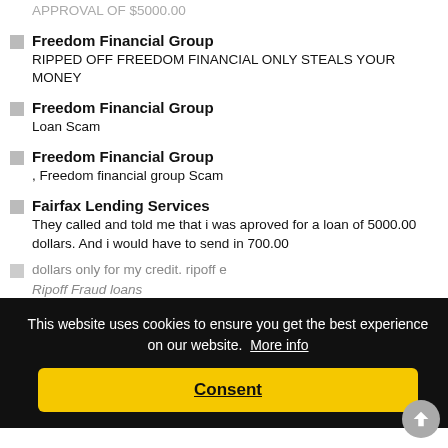APPROVAL OF $5000.00
Freedom Financial Group
RIPPED OFF FREEDOM FINANCIAL ONLY STEALS YOUR MONEY
Freedom Financial Group
Loan Scam
Freedom Financial Group
, Freedom financial group Scam
Fairfax Lending Services
They called and told me that i was aproved for a loan of 5000.00 dollars. And i would have to send in 700.00 dollars only for my credit. ripoff e
Ripoff Fraud loans
Hawkins Group LTD
Ripoff loan company said they needed 1400 to secure 5000 loan. Loan nor money back never received
This website uses cookies to ensure you get the best experience on our website.  More info
Consent